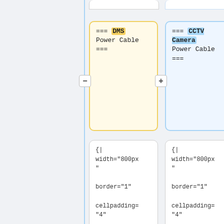=== DMS Power Cable ===
=== CCTV Camera Power Cable ===
{| width="800px" border="1" cellpadding="4" cellspacing="0" style="border:\#c9c9c9 1px solid; margin: 1em 1em 0; border-collapse: collapse;"
{| width="800px" border="1" cellpadding="4" cellspacing="0" style="border:\#c9c9c9 1px solid; margin: 1em 1em 0; border-collapse: collapse;"